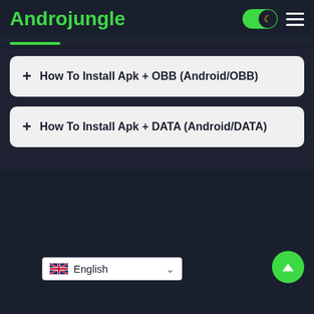Androjungle
+ How To Install Apk + OBB (Android/OBB)
+ How To Install Apk + DATA (Android/DATA)
English